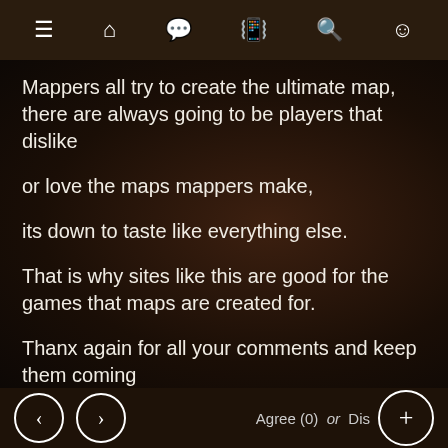≡  🏠  💬  📳  🔍  😊
Mappers all try to create the ultimate map, there are always going to be players that dislike
or love the maps mappers make,
its down to taste like everything else.
That is why sites like this are good for the games that maps are created for.
Thanx again for all your comments and keep them coming
BULLDOG.
< > Agree (0) or Disa +